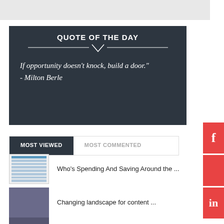[Figure (screenshot): Top gray navigation bar]
[Figure (infographic): Quote of the Day box with dark background. Quote: 'If opportunity doesn't knock, build a door.' - Milton Berle]
MOST VIEWED
MOST COMMENTED
Who's Spending And Saving Around the ...
Changing landscape for content ...
Follow your Dream